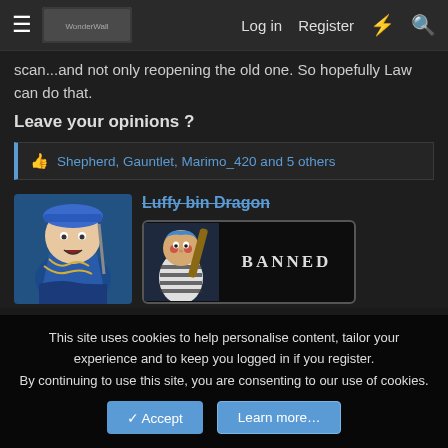Log in  Register
scan...and not only reopening the old one. So hopefully Law can do that.
Leave your opinions ?
👍 Shepherd, Gauntlet, Marimo_420 and 5 others
[Figure (illustration): Anime character avatar in blue costume with chains]
Luffy bin Dragon (strikethrough username, banned user)
[Figure (illustration): Banned badge image showing character with BANNED text]
This site uses cookies to help personalise content, tailor your experience and to keep you logged in if you register.
By continuing to use this site, you are consenting to our use of cookies.
Accept  Learn more...